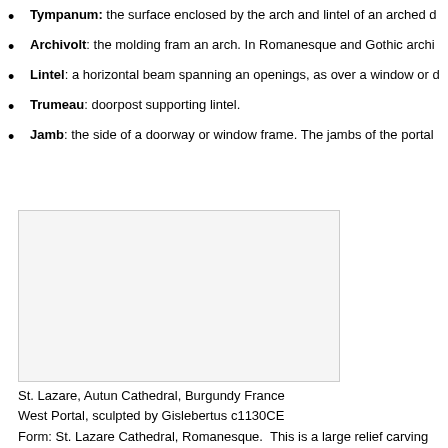Tympanum: the surface enclosed by the arch and lintel of an arched d
Archivolt: the molding fram an arch. In Romanesque and Gothic archi
Lintel: a horizontal beam spanning an openings, as over a window or d
Trumeau: doorpost supporting lintel.
Jamb: the side of a doorway or window frame. The jambs of the portal
[Figure (photo): Photograph of St. Lazare, Autun Cathedral, Burgundy France West Portal, sculpted by Gislebertus c1130CE]
St. Lazare, Autun Cathedral, Burgundy France
West Portal, sculpted by Gislebertus c1130CE
Form: St. Lazare Cathedral, Romanesque.  This is a large relief carving that